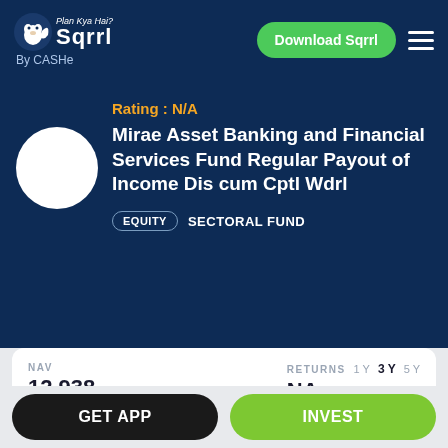Sqrrl — Plan Kya Hai? By CASHe — Download Sqrrl
Rating : N/A
Mirae Asset Banking and Financial Services Fund Regular Payout of Income Dis cum Cptl Wdrl
EQUITY  SECTORAL FUND
NAV
12.938 +0.383
(as on 30 Aug, 2022)
RETURNS  1Y  3Y  5Y
NA